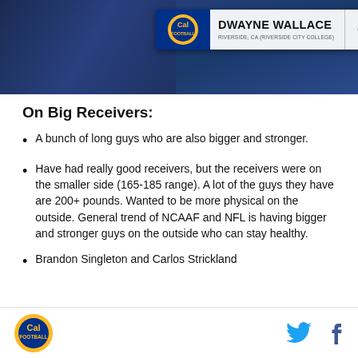[Figure (screenshot): TV broadcast screenshot showing football player Dwayne Wallace with a lower-third graphic overlay. Graphic shows Cal Football logo, player name DWAYNE WALLACE, position OL, height 6'5", weight 340, from RIVERSIDE, CA (RIVERSIDE CITY COLLEGE).]
On Big Receivers:
A bunch of long guys who are also bigger and stronger.
Have had really good receivers, but the receivers were on the smaller side (165-185 range). A lot of the guys they have are 200+ pounds. Wanted to be more physical on the outside. General trend of NCAAF and NFL is having bigger and stronger guys on the outside who can stay healthy.
Brandon Singleton and Carlos Strickland
Cal Football logo | Twitter icon | Facebook icon